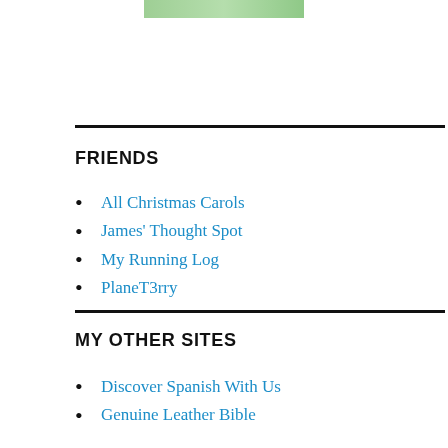[Figure (photo): Partial image strip at top of page, showing green/plant imagery cropped]
FRIENDS
All Christmas Carols
James' Thought Spot
My Running Log
PlaneT3rry
MY OTHER SITES
Discover Spanish With Us
Genuine Leather Bible